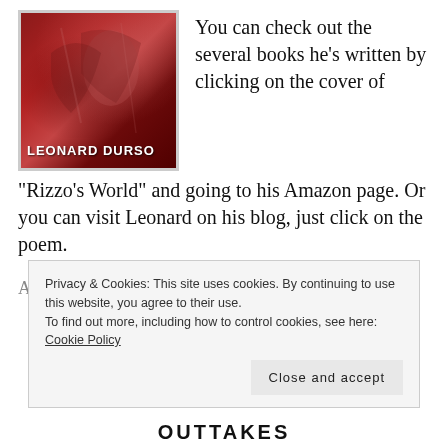[Figure (illustration): Book cover for a work by Leonard Durso, dark red/burgundy tones with decorative imagery and the author name 'LEONARD DURSO' at the bottom in white bold text.]
You can check out the several books he’s written by clicking on the cover of “Rizzo’s World” and going to his Amazon page. Or you can visit Leonard on his blog, just click on the poem.
All drawings have been done to live music
Privacy & Cookies: This site uses cookies. By continuing to use this website, you agree to their use.
To find out more, including how to control cookies, see here: Cookie Policy
Close and accept
OUTTAKES